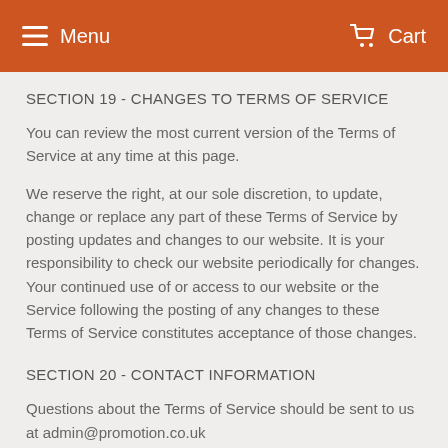Menu   Cart
SECTION 19 - CHANGES TO TERMS OF SERVICE
You can review the most current version of the Terms of Service at any time at this page.
We reserve the right, at our sole discretion, to update, change or replace any part of these Terms of Service by posting updates and changes to our website. It is your responsibility to check our website periodically for changes. Your continued use of or access to our website or the Service following the posting of any changes to these Terms of Service constitutes acceptance of those changes.
SECTION 20 - CONTACT INFORMATION
Questions about the Terms of Service should be sent to us at admin@promotion.co.uk